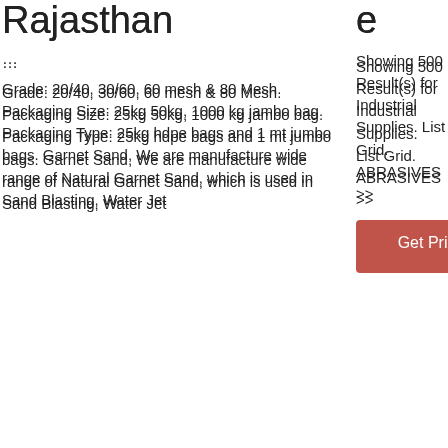Rajasthan
…
Grade: 20/40, 30/60, 60 mesh & 80 Mesh. Packaging Size: 25kg 50kg, 1000 kg jambo bag. Packaging Type: 25kg hdpe bags and 1 mt jumbo bags. Garnet Sand, We are manufacture wide range of Natural Garnet Sand, which is used in Sand Blasting, Water Jet
e
Showing 500 Result(s) for Industrial Supplies. List Grid. ABRASIVES >>
Get Price
29u2002·u2002Garnet price USD 250/tonne Rutile price USD 1 070/tonne Garnet sales (from ~2027) 261 000 tpa Rutile sales (average) 32 500 tpa Opex per sales tonne. 1) USD 87 per tonne. Capex 2019-2021 USD 207 mill. Open pit mining and comminution 26.8 Mineral processing and tailings handling 68.6 Infrastructure,